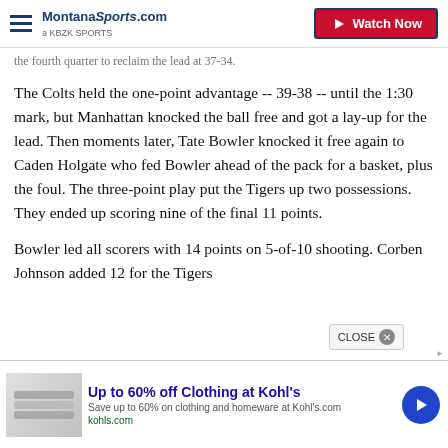MontanaSports.com | Watch Now
the fourth quarter to reclaim the lead at 37-34.
The Colts held the one-point advantage -- 39-38 -- until the 1:30 mark, but Manhattan knocked the ball free and got a lay-up for the lead. Then moments later, Tate Bowler knocked it free again to Caden Holgate who fed Bowler ahead of the pack for a basket, plus the foul. The three-point play put the Tigers up two possessions. They ended up scoring nine of the final 11 points.
Bowler led all scorers with 14 points on 5-of-10 shooting. Corben Johnson added 12 for the Tigers
[Figure (screenshot): Advertisement banner: Up to 60% off Clothing at Kohl's. Save up to 60% on clothing and homeware at Kohls.com. kohls.com]